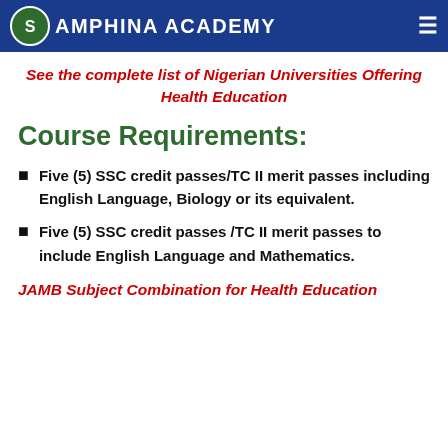SAMPHINA ACADEMY
See the complete list of Nigerian Universities Offering Health Education
Course Requirements:
Five (5) SSC credit passes/TC II merit passes including English Language, Biology or its equivalent.
Five (5) SSC credit passes /TC II merit passes to include English Language and Mathematics.
JAMB Subject Combination for Health Education